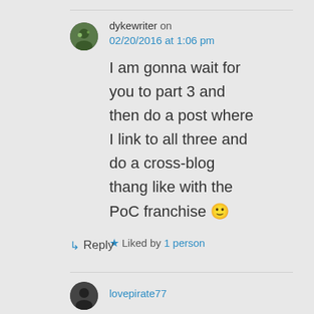dykewriter on 02/20/2016 at 1:06 pm
I am gonna wait for you to part 3 and then do a post where I link to all three and do a cross-blog thang like with the PoC franchise 🙂
Liked by 1 person
↳ Reply
lovepirate77